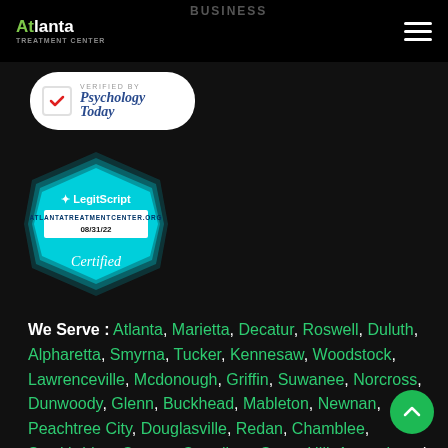Atlanta Treatment Center — BUSINESS
[Figure (logo): Verified by Psychology Today badge — white rounded rectangle with red checkmark and blue italic 'Psychology Today' text]
[Figure (logo): LegitScript certified badge — cyan hexagonal shape with 'LegitScript' logo, 'ATLANTATREATMENTCENTER.ORG', '08/31/22', and 'Certified' text]
We Serve : Atlanta, Marietta, Decatur, Roswell, Duluth, Alpharetta, Smyrna, Tucker, Kennesaw, Woodstock, Lawrenceville, Mcdonough, Griffin, Suwanee, Norcross, Dunwoody, Glenn, Buckhead, Mableton, Newnan, Peachtree City, Douglasville, Redan, Chamblee, Stockbridge, Canton, Carrollton, Sugar Hill, Acworth and other surrounding areas